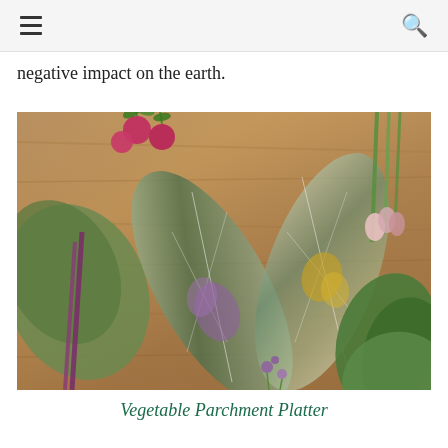[hamburger menu] [search icon]
negative impact on the earth.
[Figure (photo): Overhead photo of two leaf-shaped vegetable parchment platters surrounded by fresh vegetables including radishes, green onions, lettuce leaves, and small purple flowers on a wooden surface.]
Vegetable Parchment Platter